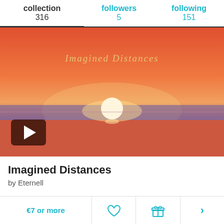collection 316  followers 5  following 151
[Figure (photo): Sunset or sunrise photo with a large orange-red sky and the sun sitting on the horizon over a calm sea. The text 'Imagined Distances' is overlaid in script style near the top center of the image. A play button is in the lower left corner.]
Imagined Distances
by Eternell
€7 or more